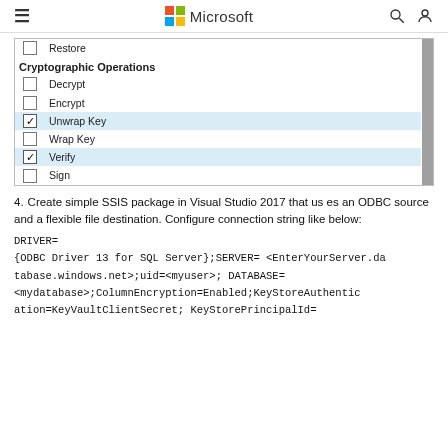Microsoft
[Figure (screenshot): A UI screenshot showing a list of cryptographic operations with checkboxes. 'Unwrap Key' and 'Verify' are checked (highlighted in light blue). 'Restore', 'Decrypt', 'Encrypt', 'Wrap Key', and 'Sign' are unchecked. A scrollbar is visible on the right.]
4. Create simple SSIS package in Visual Studio 2017 that uses an ODBC source and a flexible file destination. Configure connection string like below:
DRIVER=
{ODBC Driver 13 for SQL Server};SERVER= <EnterYourServer.database.windows.net>;uid=<myuser>; DATABASE=<mydatabase>;ColumnEncryption=Enabled;KeyStoreAuthentication=KeyVaultClientSecret; KeyStorePrincipalId=